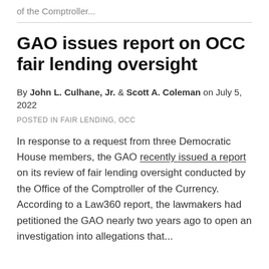of the Comptroller...
GAO issues report on OCC fair lending oversight
By John L. Culhane, Jr. & Scott A. Coleman on July 5, 2022
POSTED IN FAIR LENDING, OCC
In response to a request from three Democratic House members, the GAO recently issued a report on its review of fair lending oversight conducted by the Office of the Comptroller of the Currency. According to a Law360 report, the lawmakers had petitioned the GAO nearly two years ago to open an investigation into allegations that...